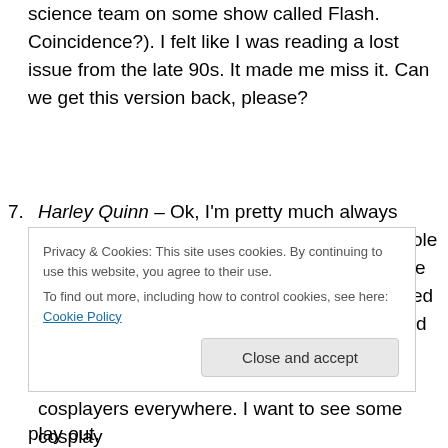science team on some show called Flash. Coincidence?). I felt like I was reading a lost issue from the late 90s. It made me miss it. Can we get this version back, please?
Harley Quinn – Ok, I'm pretty much always geeking out on the Harley series, but this whole Team Harley storyline is pretty amazing. I love how the creators just single handedly exploded the number of female minority characters (and even added one possibly gay dude?) in the DCU. Also, those uniforms are like a gift to cosplayers everywhere. I want to see some cosplay play out.
Privacy & Cookies: This site uses cookies. By continuing to use this website, you agree to their use.
To find out more, including how to control cookies, see here: Cookie Policy